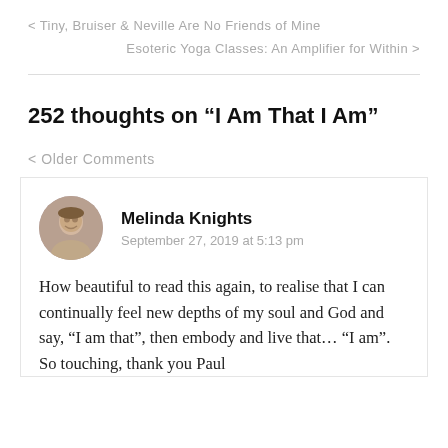< Tiny, Bruiser & Neville Are No Friends of Mine
Esoteric Yoga Classes: An Amplifier for Within >
252 thoughts on “I Am That I Am”
< Older Comments
Melinda Knights
September 27, 2019 at 5:13 pm
How beautiful to read this again, to realise that I can continually feel new depths of my soul and God and say, “I am that”, then embody and live that… “I am”. So touching, thank you Paul